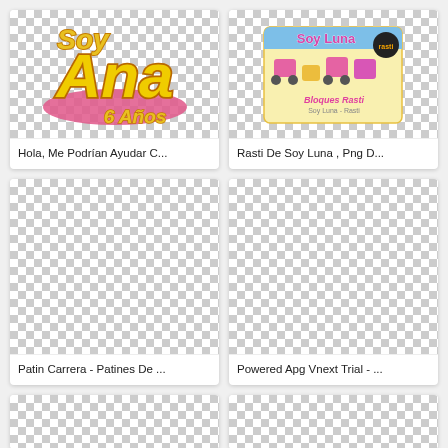[Figure (illustration): Soy Ana 6 Años logo on transparent/checkered background]
Hola, Me Podrían Ayudar C...
[Figure (photo): Rasti De Soy Luna product box on transparent/checkered background]
Rasti De Soy Luna , Png D...
[Figure (illustration): Transparent/checkered background - Patin Carrera]
Patin Carrera - Patines De ...
[Figure (illustration): Transparent/checkered background - Powered Apg Vnext Trial]
Powered Apg Vnext Trial - ...
[Figure (illustration): Partial card bottom left - transparent/checkered background]
[Figure (illustration): Partial card bottom right - transparent/checkered background]